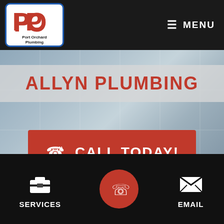[Figure (logo): Port Orchard Plumbing logo in a white rounded rectangle with blue border. Large red interlocked letters POP and text 'Port Orchard Plumbing' below.]
MENU
ALLYN PLUMBING
CALL TODAY!
SERVICES
EMAIL